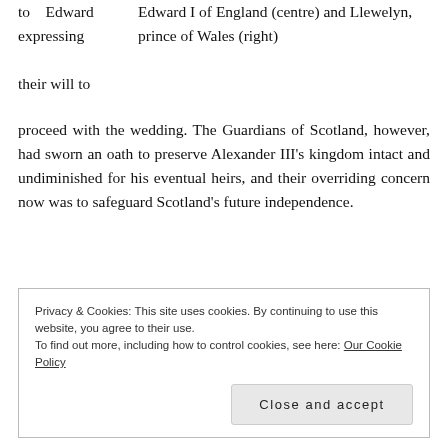Edward I of England (centre) and Llewelyn, prince of Wales (right)
to Edward expressing their will to proceed with the wedding. The Guardians of Scotland, however, had sworn an oath to preserve Alexander III’s kingdom intact and undiminished for his eventual heirs, and their overriding concern now was to safeguard Scotland’s future independence.
It was agreed at Brigham that, although Edward and Margaret were not yet of marriageable age, the would be
Privacy & Cookies: This site uses cookies. By continuing to use this website, you agree to their use.
To find out more, including how to control cookies, see here: Our Cookie Policy
Close and accept